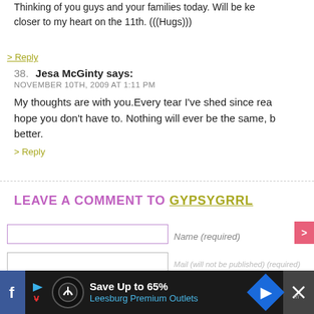Thinking of you guys and your families today. Will be ke... closer to my heart on the 11th. (((Hugs)))
> Reply
38. Jesa McGinty says:
NOVEMBER 10TH, 2009 AT 1:11 PM
My thoughts are with you.Every tear I've shed since rea... hope you don't have to. Nothing will ever be the same, b... better.
> Reply
LEAVE A COMMENT TO GYPSYGRRL
Name (required)
[Figure (screenshot): Advertisement banner: Save Up to 65% Leesburg Premium Outlets]